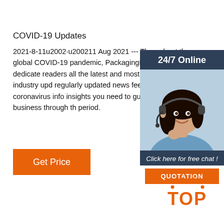COVID-19 Updates
2021-8-11u2002·u200211 Aug 2021 --- Throughout the global COVID-19 pandemic, PackagingInsights is dedicated readers all the latest and most relevant industry upd regularly updated news feed for the coronavirus info insights you need to guide your business through th period.
[Figure (infographic): 24/7 Online chat widget with photo of woman wearing headset, 'Click here for free chat!' text, and QUOTATION button]
Get Price
[Figure (logo): TOP logo in orange with dotted arc above the letters]